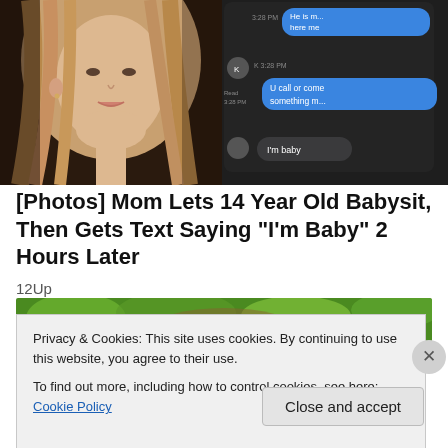[Figure (screenshot): Split image: left half shows a teenage girl with long blonde hair looking to the side; right half shows a smartphone screen with text message conversation including messages 'he is here me', 'U call or come something m', and 'I'm baby']
[Photos] Mom Lets 14 Year Old Babysit, Then Gets Text Saying "I'm Baby" 2 Hours Later
12Up
[Figure (photo): Partial photo of a person outdoors with green foliage in background]
Privacy & Cookies: This site uses cookies. By continuing to use this website, you agree to their use.
To find out more, including how to control cookies, see here: Cookie Policy
Close and accept